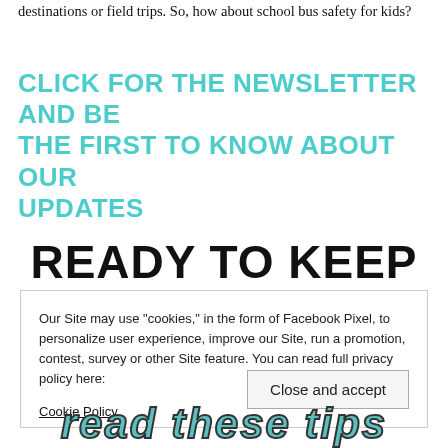destinations or field trips. So, how about school bus safety for kids?
CLICK FOR THE NEWSLETTER AND BE THE FIRST TO KNOW ABOUT OUR UPDATES
READY TO KEEP
Our Site may use "cookies," in the form of Facebook Pixel, to personalize user experience, improve our Site, run a promotion, contest, survey or other Site feature. You can read full privacy policy here:
Cookie Policy
Close and accept
[Figure (illustration): Decorative illustrated text at bottom of page showing 'read these tips' in colorful illustrated lettering with a school bus image below]